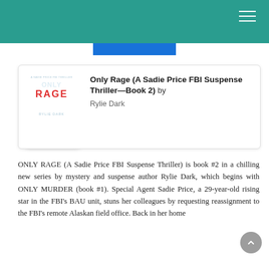[Figure (illustration): Book cover for 'Only Rage (A Sadie Price FBI Suspense Thriller—Book 2)' by Rylie Dark, dark blue background with 'ONLY RAGE RYLIE DARK' text]
Only Rage (A Sadie Price FBI Suspense Thriller—Book 2) by Rylie Dark
ONLY RAGE (A Sadie Price FBI Suspense Thriller) is book #2 in a chilling new series by mystery and suspense author Rylie Dark, which begins with ONLY MURDER (book #1). Special Agent Sadie Price, a 29-year-old rising star in the FBI's BAU unit, stuns her colleagues by requesting reassignment to the FBI's remote Alaskan field office. Back in her home